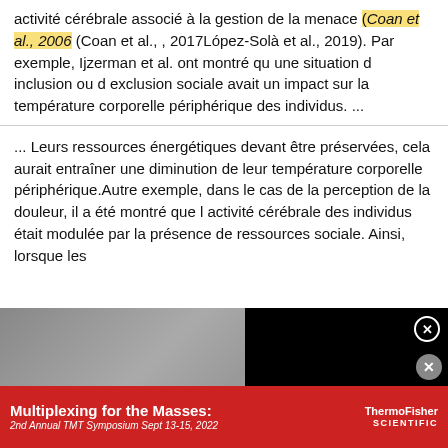activité cérébrale associé à la gestion de la menace (Coan et al., 2006 (Coan et al., , 2017López-Solà et al., 2019). Par exemple, Ijzerman et al. ont montré qu une situation d inclusion ou d exclusion sociale avait un impact sur la température corporelle périphérique des individus. ...
... Leurs ressources énergétiques devant être préservées, cela aurait entraîner une diminution de leur température corporelle périphérique.Autre exemple, dans le cas de la perception de la douleur, il a été montré que l activité cérébrale des individus était modulée par la présence de ressources sociale. Ainsi, lorsque les
[Figure (screenshot): Video advertisement overlay showing 'Are marketing budgets on autopilot?' with a video thumbnail of people in a meeting room and a play button. Black background with white text.]
importante dans les régions cérébrales associées à l autorégulation de l émotion, lorsqu elles étaient à proximité d un partenaire de confiance, comparativement
[Figure (screenshot): Bottom banner advertisement for Thermo Fisher Scientific: 'Multiplexing for the Masses: 2nd Annual TMT Symposium Sept 13-15, 2022']